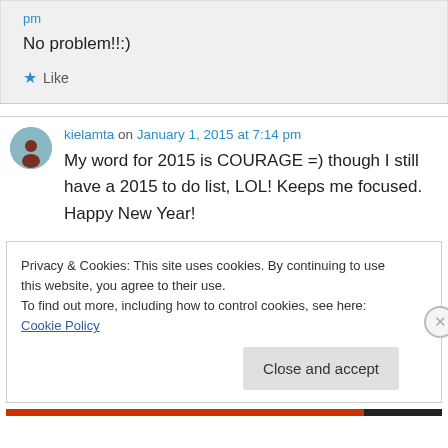pm
No problem!!:)
★ Like
kielamta on January 1, 2015 at 7:14 pm
My word for 2015 is COURAGE =) though I still have a 2015 to do list, LOL! Keeps me focused. Happy New Year!
Privacy & Cookies: This site uses cookies. By continuing to use this website, you agree to their use.
To find out more, including how to control cookies, see here: Cookie Policy
Close and accept